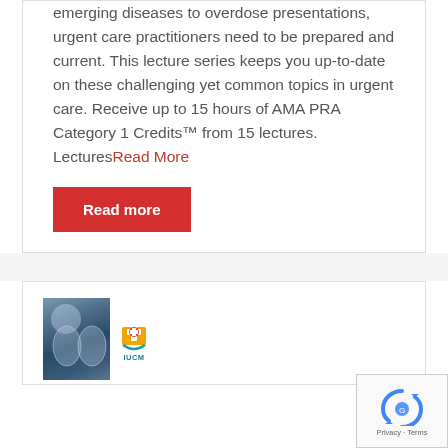emerging diseases to overdose presentations, urgent care practitioners need to be prepared and current. This lecture series keeps you up-to-date on these challenging yet common topics in urgent care. Receive up to 15 hours of AMA PRA Category 1 Credits™ from 15 lectures. LecturesRead More
Read more
[Figure (logo): IUCM logo with orange book and medical cross icon, with x-ray chest image in background]